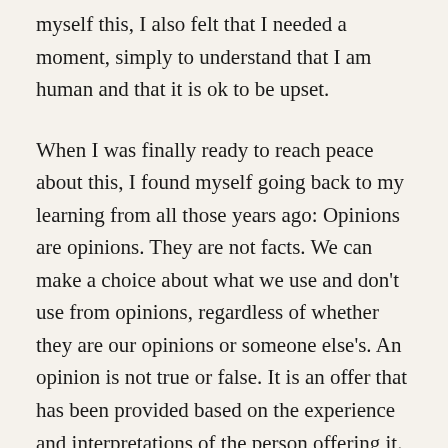myself this, I also felt that I needed a moment, simply to understand that I am human and that it is ok to be upset.
When I was finally ready to reach peace about this, I found myself going back to my learning from all those years ago: Opinions are opinions. They are not facts. We can make a choice about what we use and don't use from opinions, regardless of whether they are our opinions or someone else's. An opinion is not true or false. It is an offer that has been provided based on the experience and interpretations of the person offering it.
And so I am now in a space where I am considering